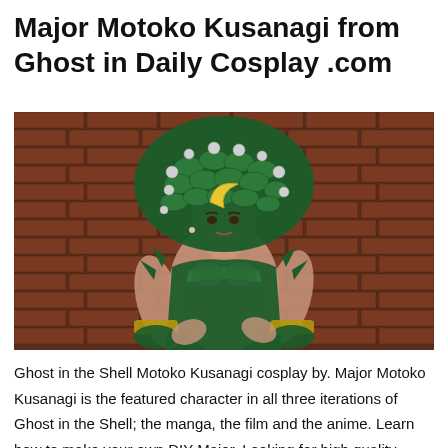Major Motoko Kusanagi from Ghost in Daily Cosplay .com
[Figure (photo): A woman cosplaying as Major Motoko Kusanagi from Ghost in the Shell. She wears an elaborate dark green scale-patterned headdress with a golden crescent moon ornament and silver spherical decorations, along with a green and gold scale-patterned costume. She poses against a red brick wall background.]
Ghost in the Shell Motoko Kusanagi cosplay by. Major Motoko Kusanagi is the featured character in all three iterations of Ghost in the Shell; the manga, the film and the anime. Learn how to make your own DIY Major, Looking for high quality